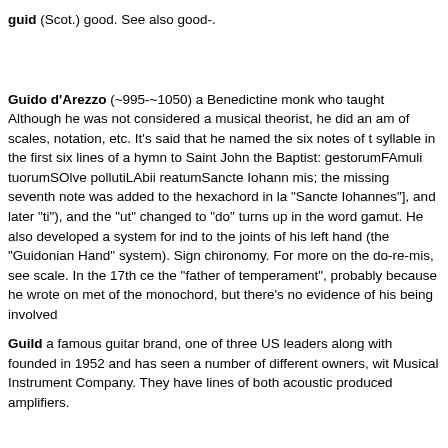guid (Scot.) good. See also good-.
Guido d'Arezzo (~995-~1050) a Benedictine monk who taught. Although he was not considered a musical theorist, he did an amount of scales, notation, etc. It's said that he named the six notes of the syllable in the first six lines of a hymn to Saint John the Baptist: gestorumFAmuli tuorumSOlve pollutiLAbii reatumSancte Iohan mis; the missing seventh note was added to the hexachord in la "Sancte Iohannes"], and later "ti"), and the "ut" changed to "do" turns up in the word gamut. He also developed a system for ind to the joints of his left hand (the "Guidonian Hand" system). Sig chironomy. For more on the do-re-mis, see scale. In the 17th ce the "father of temperament", probably because he wrote on me of the monochord, but there's no evidence of his being involved
Guild a famous guitar brand, one of three US leaders along wit founded in 1952 and has seen a number of different owners, wi Musical Instrument Company. They have lines of both acoustic produced amplifiers.